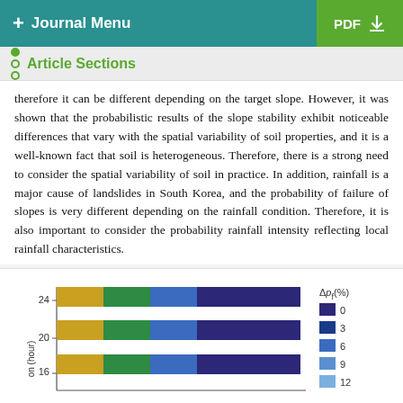+ Journal Menu | PDF
Article Sections
therefore it can be different depending on the target slope. However, it was shown that the probabilistic results of the slope stability exhibit noticeable differences that vary with the spatial variability of soil properties, and it is a well-known fact that soil is heterogeneous. Therefore, there is a strong need to consider the spatial variability of soil in practice. In addition, rainfall is a major cause of landslides in South Korea, and the probability of failure of slopes is very different depending on the rainfall condition. Therefore, it is also important to consider the probability rainfall intensity reflecting local rainfall characteristics.
[Figure (bar-chart): Horizontal grouped bar chart showing duration (hour) on y-axis with values 16, 20, 24, and a legend for Δp_f(%) with colors for 0, 3, 6, 9, 12. Bars are colored gold/yellow, green, blue-green, and dark purple/blue.]